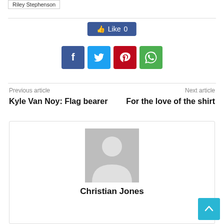Riley Stephenson
[Figure (other): Facebook Like button showing 'Like 0']
[Figure (other): Social sharing icons: Facebook (blue), Twitter (light blue), Pinterest (red), WhatsApp (green)]
Previous article
Kyle Van Noy: Flag bearer
Next article
For the love of the shirt
[Figure (photo): Generic user avatar placeholder image (gray silhouette on gray background)]
Christian Jones